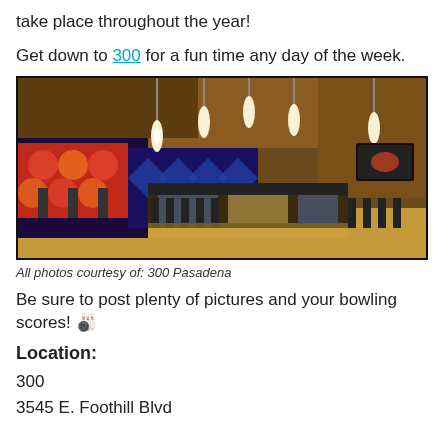take place throughout the year!
Get down to 300 for a fun time any day of the week.
[Figure (photo): Interior of 300 Pasadena bowling alley bar with pendant lights hanging from the ceiling, a long bar counter with bar stools, and colorful bowling-themed wall art in the background.]
All photos courtesy of: 300 Pasadena
Be sure to post plenty of pictures and your bowling scores! 🎳
Location:
300
3545 E. Foothill Blvd